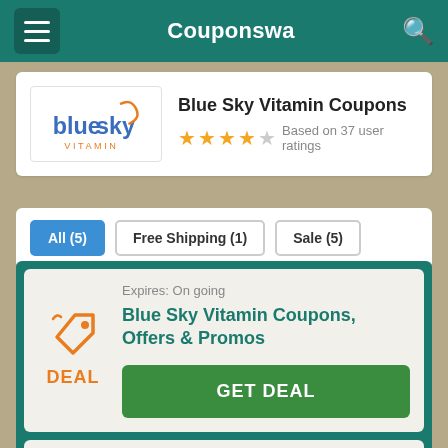Couponswa
Blue Sky Vitamin Coupons
Based on 37 user ratings
All (5)
Free Shipping (1)
Sale (5)
Expires: On going
Blue Sky Vitamin Coupons, Offers & Promos
GET DEAL
Expires: On going